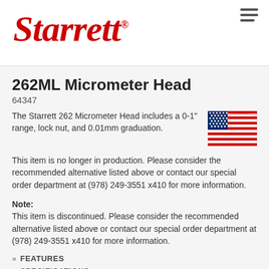[Figure (logo): Starrett logo in red italic serif font with registered trademark symbol]
262ML Micrometer Head
64347
The Starrett 262 Micrometer Head includes a 0-1" range, lock nut, and 0.01mm graduation.
[Figure (illustration): American flag illustration]
This item is no longer in production. Please consider the recommended alternative listed above or contact our special order department at (978) 249-3551 x410 for more information.
Note:
This item is discontinued. Please consider the recommended alternative listed above or contact our special order department at (978) 249-3551 x410 for more information.
» FEATURES
» SPECIFICATIONS
» PARTS